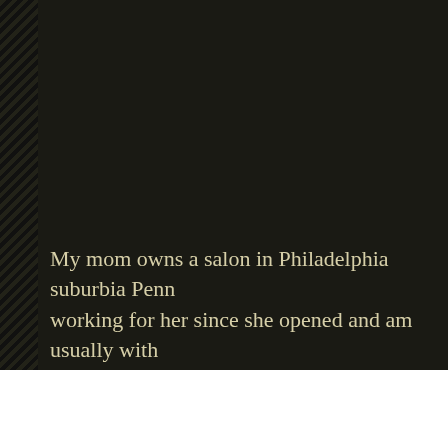My mom owns a salon in Philadelphia suburbia Penn... working for her since she opened and am usually with... through Saturday. Ever Saturday we have an older we... call her Ethel. Ethel usually washes her own hair and... have it teased. It's literally a $4 service and seems we... week for the same thing. I've never gotten a weird vib... spent years talking to this woman.